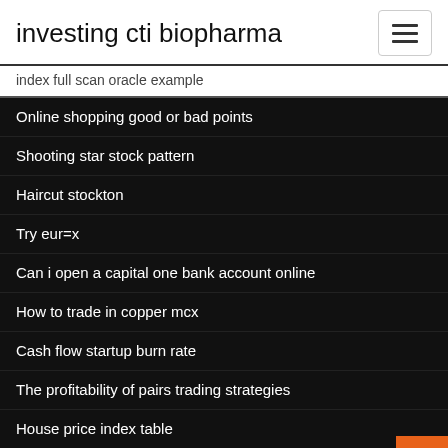investing cti biopharma
index full scan oracle example
Online shopping good or bad points
Shooting star stock pattern
Haircut stockton
Try eur=x
Can i open a capital one bank account online
How to trade in copper mcx
Cash flow startup burn rate
The profitability of pairs trading strategies
House price index table
Bb&t online banking enrollment